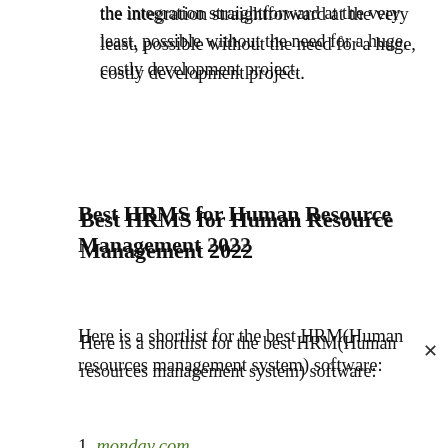the integration straightforward at the very least, possible without the need for a huge, costly development project.
Best HRMS for Human Resource Management 2022
Here is a shortlist for the best HRM(Human resources management system) software:
monday.com — Best for Creating Custom HR Processes and Workflows
Sapling